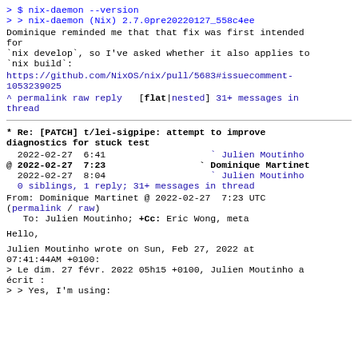> $ nix-daemon --version
> > nix-daemon (Nix) 2.7.0pre20220127_558c4ee
Dominique reminded me that that fix was first intended for
`nix develop`, so I've asked whether it also applies to
`nix build`:
https://github.com/NixOS/nix/pull/5683#issuecomment-1053239025
^ permalink raw reply   [flat|nested] 31+ messages in thread
* Re: [PATCH] t/lei-sigpipe: attempt to improve diagnostics for stuck test
2022-02-27  6:41                         Julien Moutinho
@ 2022-02-27  7:23                       ` Dominique Martinet
  2022-02-27  8:04                         ` Julien Moutinho
  0 siblings, 1 reply; 31+ messages in thread
From: Dominique Martinet @ 2022-02-27  7:23 UTC
(permalink / raw)
   To: Julien Moutinho; +Cc: Eric Wong, meta
Hello,
Julien Moutinho wrote on Sun, Feb 27, 2022 at
07:41:44AM +0100:
> Le dim. 27 févr. 2022 05h15 +0100, Julien Moutinho a
écrit :
> > Yes, I'm using: